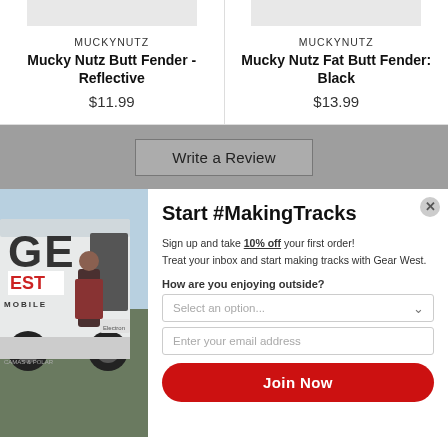MUCKYNUTZ
Mucky Nutz Butt Fender - Reflective
$11.99
MUCKYNUTZ
Mucky Nutz Fat Butt Fender: Black
$13.99
Write a Review
[Figure (photo): A Gear West mobile van with a person standing at the door, outdoors.]
Start #MakingTracks
Sign up and take 10% off your first order! Treat your inbox and start making tracks with Gear West.
How are you enjoying outside?
Select an option...
Enter your email address
Join Now